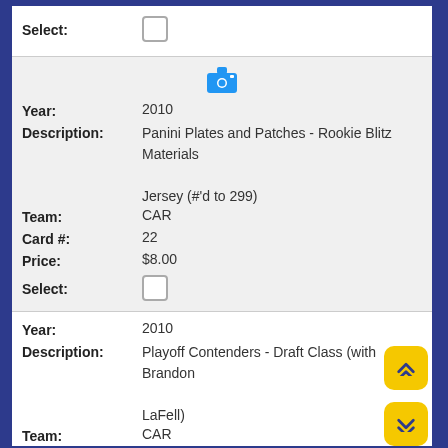| Select: | ☐ |
| [camera icon] |  |
| Year: | 2010 |
| Description: | Panini Plates and Patches - Rookie Blitz Materials Jersey (#'d to 299) |
| Team: | CAR |
| Card #: | 22 |
| Price: | $8.00 |
| Select: | ☐ |
| Year: | 2010 |
| Description: | Playoff Contenders - Draft Class (with Brandon LaFell) |
| Team: | CAR |
| Card #: | 8 |
| Price: | $2.00 |